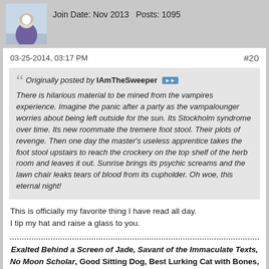Join Date: Nov 2013   Posts: 1095
03-25-2014, 03:17 PM  #20
Originally posted by IAmTheSweeper
There is hilarious material to be mined from the vampires experience. Imagine the panic after a party as the vampalounger worries about being left outside for the sun. Its Stockholm syndrome over time. Its new roommate the tremere foot stool. Their plots of revenge. Then one day the master's useless apprentice takes the foot stool upstairs to reach the crockery on the top shelf of the herb room and leaves it out. Sunrise brings its psychic screams and the lawn chair leaks tears of blood from its cupholder. Oh woe, this eternal night!
This is officially my favorite thing I have read all day.
I tip my hat and raise a glass to you.
Exalted Behind a Screen of Jade, Savant of the Immaculate Texts, No Moon Scholar, Good Sitting Dog, Best Lurking Cat with Bones, Pioneer Pooch, Corsair, Director, Keeper of the Karstein Manor, Scion with Shield of Knowledge, Erymanthian Boar, Seeking Awakened, Cloaked Changeling, Family Head, Kindred, Agent,